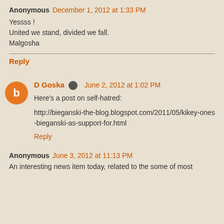Anonymous December 1, 2012 at 1:33 PM
Yessss !
United we stand, divided we fall.
Malgosha
Reply
D Goska June 2, 2012 at 1:02 PM
Here's a post on self-hatred:
http://bieganski-the-blog.blogspot.com/2011/05/kikey-ones-bieganski-as-support-for.html
Reply
Anonymous June 3, 2012 at 11:13 PM
An interesting news item today, related to the some of most